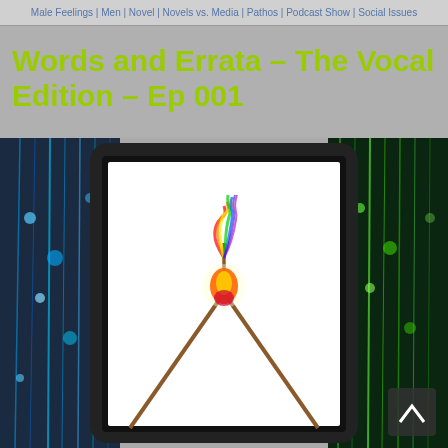Male Feelings | Men | Novel | Novels vs. Media | Pathos | Podcast Show | Social Issues
Words and Errata – The Vocal Edition – Ep 001
[Figure (illustration): A tablet device displaying a book cover with two crossed wands/arrows and a colorful flame rising from the center, surrounded by blue and green light streaks on a dark background]